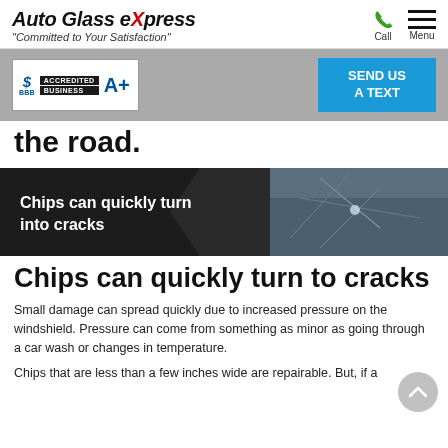Auto Glass eXpress — "Committed to Your Satisfaction"
[Figure (logo): BBB Accredited Business A+ badge and Send Us A Text button on gray banner]
the road.
[Figure (photo): Banner image with cracked windshield and text: Chips can quickly turn into cracks]
Chips can quickly turn to cracks
Small damage can spread quickly due to increased pressure on the windshield. Pressure can come from something as minor as going through a car wash or changes in temperature.
Chips that are less than a few inches wide are repairable. But, if a